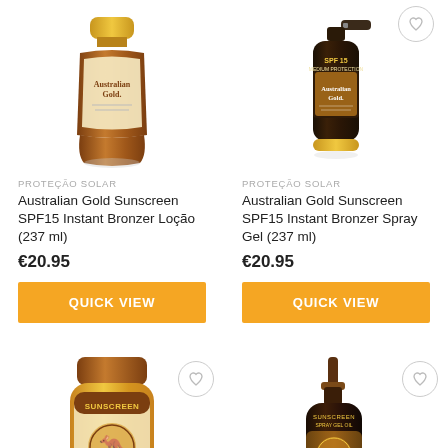[Figure (photo): Australian Gold Sunscreen SPF15 Instant Bronzer Loção bottle]
PROTEÇÃO SOLAR
Australian Gold Sunscreen SPF15 Instant Bronzer Loção (237 ml)
€20.95
QUICK VIEW
[Figure (photo): Australian Gold Sunscreen SPF15 Instant Bronzer Spray Gel bottle]
PROTEÇÃO SOLAR
Australian Gold Sunscreen SPF15 Instant Bronzer Spray Gel (237 ml)
€20.95
QUICK VIEW
[Figure (photo): Australian Gold SPF30 lotion bottle with bronzer]
[Figure (photo): Australian Gold SPF30 spray gel dark bottle with bronzer]